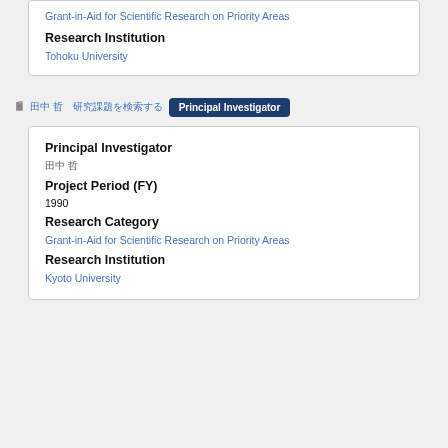Grant-in-Aid for Scientific Research on Priority Areas
Research Institution
Tohoku University
Principal Investigator (nav icon + badge)
Principal Investigator
田中 哲　(Japanese name)
Project Period (FY)
1990
Research Category
Grant-in-Aid for Scientific Research on Priority Areas
Research Institution
Kyoto University